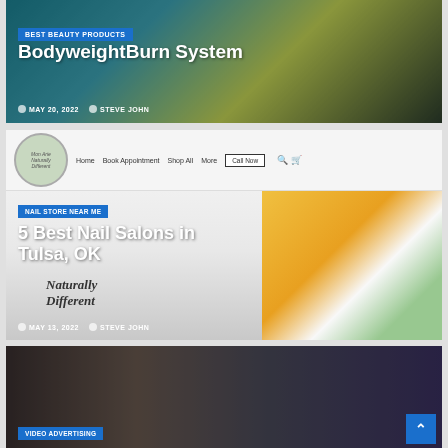[Figure (screenshot): Blog card with 'BEST BEAUTY PRODUCTS' badge, title 'BodyweightBurn System', date MAY 20, 2022, author STEVE JOHN, fitness-themed background image]
[Figure (screenshot): Blog card with nail salon website header (Mon Arie Naturally Different logo, nav: Home, Book Appointment, Shop All, More, Call Now button), badge 'NAIL STORE NEAR ME', title '5 Best Nail Salons in Tulsa, OK', date MAY 13, 2022, author STEVE JOHN, citrus/flower background image]
[Figure (screenshot): Blog card with 'VIDEO ADVERTISING' badge, background showing musicians and business people, scroll-to-top button visible]